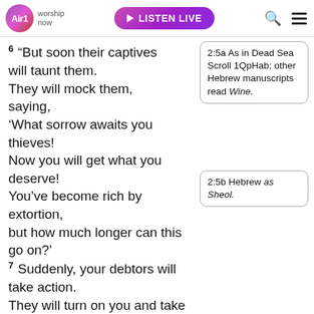Air1 worship now | LISTEN LIVE
6 “But soon their captives will taunt them.
They will mock them, saying,
‘What sorrow awaits you thieves!
Now you will get what you deserve!
You’ve become rich by extortion,
but how much longer can this go on?’
7 Suddenly, your debtors will take action.
They will turn on you and take all you have,
while you stand trembling and helpless.
8 Because you have plundered many
2:5a As in Dead Sea Scroll 1QpHab; other Hebrew manuscripts read Wine.
2:5b Hebrew as Sheol.